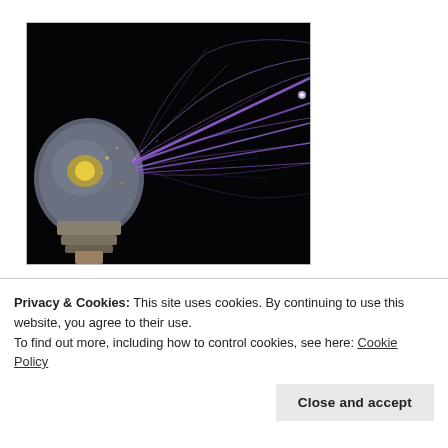[Figure (photo): A light bulb exploding with purple/blue electric discharge arcs shooting from the bulb against a dark black background. The bulb has a metallic base visible at the bottom.]
[Figure (photo): A second photo of the same or similar light bulb exploding with purple/blue electric discharge, showing the bulb from a slightly different angle, lower in frame. Same dark background.]
Privacy & Cookies: This site uses cookies. By continuing to use this website, you agree to their use.
To find out more, including how to control cookies, see here: Cookie Policy
Close and accept